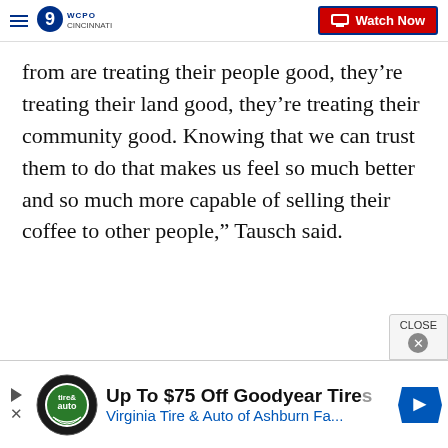WCPO 9 Cincinnati — Watch Now
from are treating their people good, they’re treating their land good, they’re treating their community good. Knowing that we can trust them to do that makes us feel so much better and so much more capable of selling their coffee to other people,” Tausch said.
[Figure (other): Advertisement banner: Up To $75 Off Goodyear Tires — Virginia Tire & Auto of Ashburn Fa...]